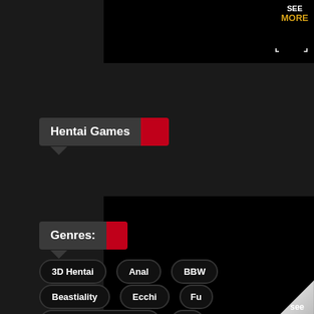[Figure (screenshot): Black banner area with SEE MORE text and corner brackets]
Hentai Games
[Figure (screenshot): Black game banner with page curl effect and see more label]
Genres:
3D Hentai
Anal
BBW
Beastiality
Ecchi
Fu
Gender Bender Hentai
Ha